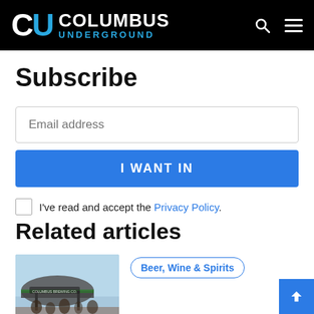Columbus Underground
Subscribe
Email address
I WANT IN
I've read and accept the Privacy Policy.
Related articles
[Figure (photo): Outdoor festival scene with tent and crowd]
Beer, Wine & Spirits